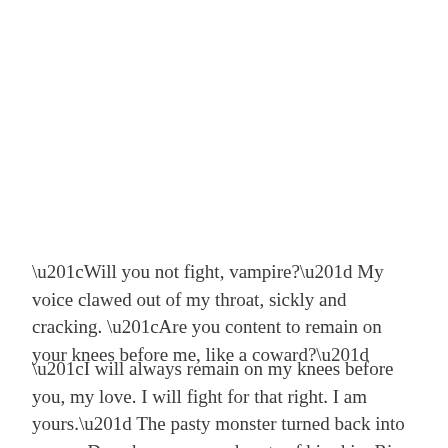“Will you not fight, vampire?” My voice clawed out of my throat, sickly and cracking. “Are you content to remain on your knees before me, like a coward?”
“I will always remain on my knees before you, my love. I will fight for that right. I am yours.” The pasty monster turned back into a man. Deep burns covered parts of his skin. Rips and scrapes marred